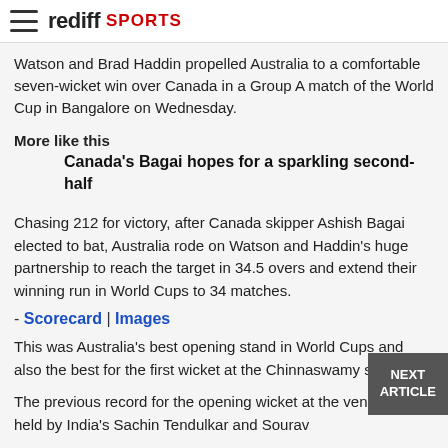rediff SPORTS
Watson and Brad Haddin propelled Australia to a comfortable seven-wicket win over Canada in a Group A match of the World Cup in Bangalore on Wednesday.
More like this
Canada's Bagai hopes for a sparkling second-half
Chasing 212 for victory, after Canada skipper Ashish Bagai elected to bat, Australia rode on Watson and Haddin's huge partnership to reach the target in 34.5 overs and extend their winning run in World Cups to 34 matches.
- Scorecard | Images
This was Australia's best opening stand in World Cups and also the best for the first wicket at the Chinnaswamy stadium.
The previous record for the opening wicket at the venue was held by India's Sachin Tendulkar and Sourav